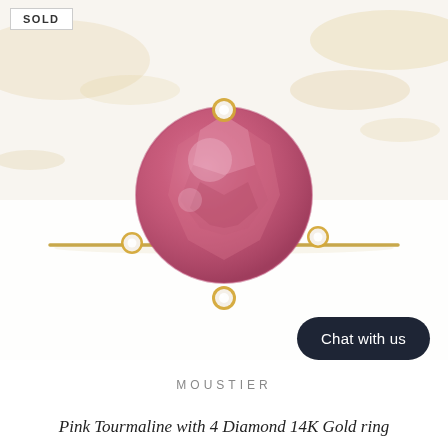[Figure (photo): A pink tourmaline ring with 4 small diamonds in 14K gold setting, photographed on a white background with soft golden branches in the background. The ring features a large round pink tourmaline center stone with four bezel-set diamond accents at cardinal positions around the stone, on a thin gold band.]
SOLD
Chat with us
MOUSTIER
Pink Tourmaline with 4 Diamond 14K Gold ring